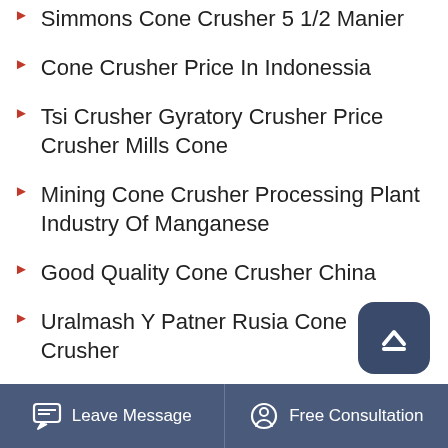Simmons Cone Crusher 5 1/2 Manier
Cone Crusher Price In Indonessia
Tsi Crusher Gyratory Crusher Price Crusher Mills Cone
Mining Cone Crusher Processing Plant Industry Of Manganese
Good Quality Cone Crusher China
Uralmash Y Patner Rusia Cone Crusher
Quarry Cone Crusher With Iso Ce Sgs Approved For Sale
Cone Crusher For Sale In Bacolod City
Machinery Trader Portable 7 Foot Cone Crusher
Leave Message   Free Consultation